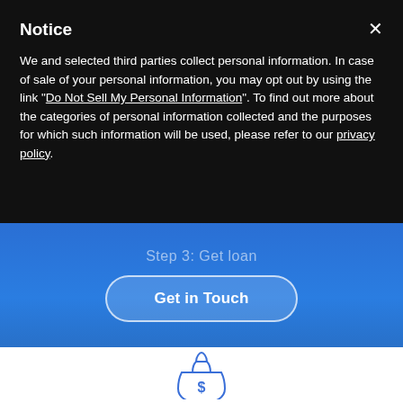Notice
We and selected third parties collect personal information. In case of sale of your personal information, you may opt out by using the link "Do Not Sell My Personal Information". To find out more about the categories of personal information collected and the purposes for which such information will be used, please refer to our privacy policy.
Step 3: Get loan
Get in Touch
[Figure (illustration): Partial money bag icon with dollar sign, blue outline style]